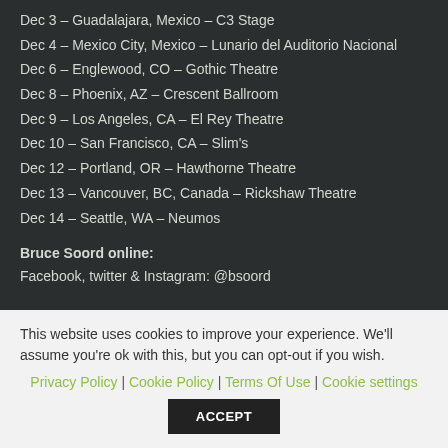Dec 3 – Guadalajara, Mexico – C3 Stage
Dec 4 – Mexico City, Mexico – Lunario del Auditorio Nacional
Dec 6 – Englewood, CO – Gothic Theatre
Dec 8 – Phoenix, AZ – Crescent Ballroom
Dec 9 – Los Angeles, CA – El Rey Theatre
Dec 10 – San Francisco, CA – Slim's
Dec 12 – Portland, OR – Hawthorne Theatre
Dec 13 – Vancouver, BC, Canada – Rickshaw Theatre
Dec 14 – Seattle, WA – Neumos
Bruce Soord online:
Facebook, twitter & Instagram: @bsoord
This website uses cookies to improve your experience. We'll assume you're ok with this, but you can opt-out if you wish. Privacy Policy | Cookie Policy | Terms Of Use | Cookie settings ACCEPT